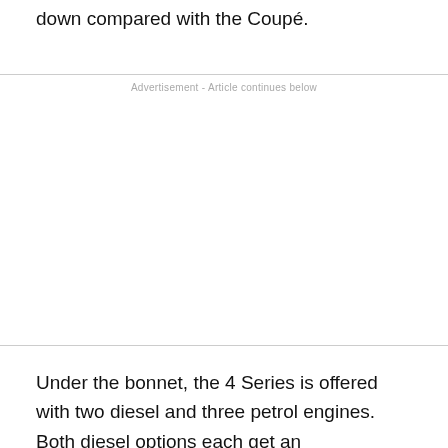down compared with the Coupé.
Advertisement - Article continues below
Under the bonnet, the 4 Series is offered with two diesel and three petrol engines. Both diesel options each get an